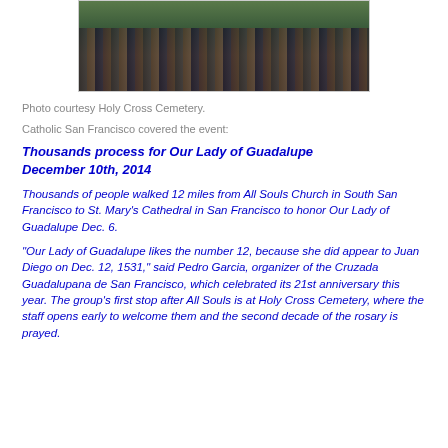[Figure (photo): Crowd of people gathered outdoors, viewed from above, at Holy Cross Cemetery event.]
Photo courtesy Holy Cross Cemetery.
Catholic San Francisco covered the event:
Thousands process for Our Lady of Guadalupe December 10th, 2014
Thousands of people walked 12 miles from All Souls Church in South San Francisco to St. Mary’s Cathedral in San Francisco to honor Our Lady of Guadalupe Dec. 6.
“Our Lady of Guadalupe likes the number 12, because she did appear to Juan Diego on Dec. 12, 1531,” said Pedro Garcia, organizer of the Cruzada Guadalupana de San Francisco, which celebrated its 21st anniversary this year. The group’s first stop after All Souls is at Holy Cross Cemetery, where the staff opens early to welcome them and the second decade of the rosary is prayed.